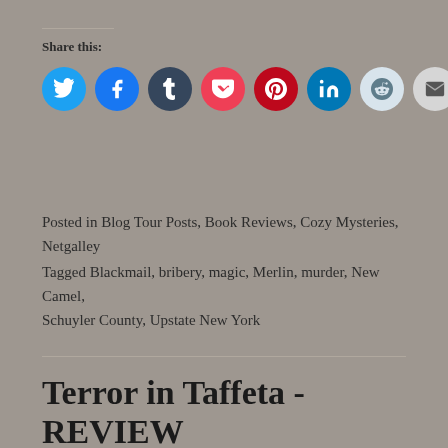Share this:
[Figure (infographic): Social media share buttons: Twitter (blue), Facebook (blue), Tumblr (dark navy), Pocket (red), Pinterest (dark red), LinkedIn (blue), Reddit (light blue), Email (gray), Print (gray)]
Posted in Blog Tour Posts, Book Reviews, Cozy Mysteries, Netgalley
Tagged Blackmail, bribery, magic, Merlin, murder, New Camel, Schuyler County, Upstate New York
Terror in Taffeta - REVIEW